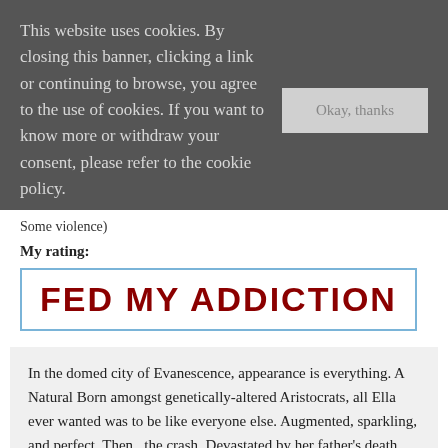This website uses cookies. By closing this banner, clicking a link or continuing to browse, you agree to the use of cookies. If you want to know more or withdraw your consent, please refer to the cookie policy.
Some violence)
My rating:
[Figure (other): Rating badge with red text on white background inside a blue border reading 'FED MY ADDICTION']
In the domed city of Evanescence, appearance is everything. A Natural Born amongst genetically-altered Aristocrats, all Ella ever wanted was to be like everyone else. Augmented, sparkling, and perfect. Then...the crash. Devastated by her father's death and struggling with her new physical limitations, Ella is terrified to learn she is not just alone, but little more than a prisoner.
Her only escape is to lose herself in Nexis, the hugely popular virtual reality world of the upper cla...